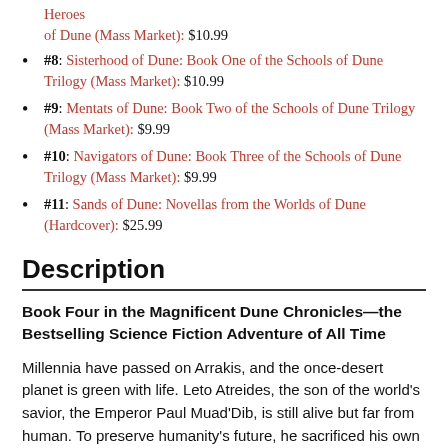Heroes of Dune (Mass Market): $10.99
#8: Sisterhood of Dune: Book One of the Schools of Dune Trilogy (Mass Market): $10.99
#9: Mentats of Dune: Book Two of the Schools of Dune Trilogy (Mass Market): $9.99
#10: Navigators of Dune: Book Three of the Schools of Dune Trilogy (Mass Market): $9.99
#11: Sands of Dune: Novellas from the Worlds of Dune (Hardcover): $25.99
Description
Book Four in the Magnificent Dune Chronicles—the Bestselling Science Fiction Adventure of All Time
Millennia have passed on Arrakis, and the once-desert planet is green with life. Leto Atreides, the son of the world's savior, the Emperor Paul Muad'Dib, is still alive but far from human. To preserve humanity's future, he sacrificed his own by merging with a sandworm, granting him near immortality as God Emperor of Dune for the past thirty-five hundred years.